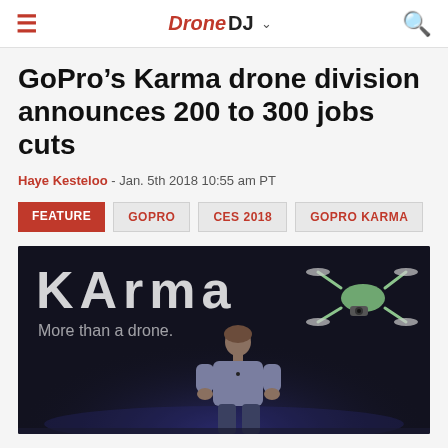DroneDJ
GoPro’s Karma drone division announces 200 to 300 jobs cuts
Haye Kesteloo - Jan. 5th 2018 10:55 am PT
FEATURE
GOPRO
CES 2018
GOPRO KARMA
[Figure (photo): Dark stage presentation showing the Karma logo and tagline 'More than a drone.' with a speaker on stage and a drone silhouette in the background]